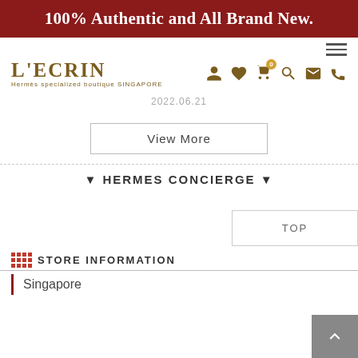100% Authentic and All Brand New.
[Figure (logo): L'ECRIN - Hermes specialized boutique SINGAPORE logo with navigation icons (user, heart, cart with 0 badge, search, email, phone)]
2022.06.21
View More
▼ HERMES CONCIERGE ▼
TOP
STORE INFORMATION
Singapore